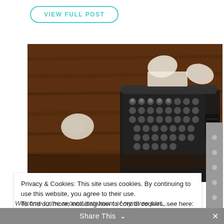VIEW FULL POST
[Figure (photo): Vintage typewriter on a dark wooden table with crumpled pieces of paper scattered around it, viewed from above at an angle.]
Privacy & Cookies: This site uses cookies. By continuing to use this website, you agree to their use.
To find out more, including how to control cookies, see here: Cookie Policy
Close and accept
Share This
Welcome to the second instalment of my three part...